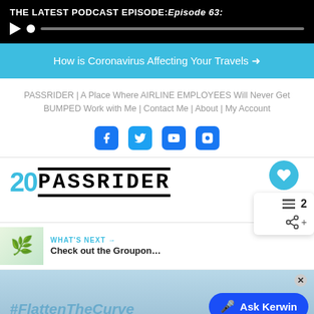THE LATEST PODCAST EPISODE: Episode 63:
[Figure (other): Audio player with play button and progress bar]
How is Coronavirus Affecting Your Travels →
PASSRIDER | A Place Where AIRLINE EMPLOYEES Will Never Get BUMPED Work with Me | Contact Me | About | My Account
[Figure (other): Social media icons: Facebook, Twitter, YouTube, Instagram]
[Figure (logo): 20PASSRIDER logo with teal 20 and bold black stencil text]
[Figure (other): Heart button with favorites count 2, hamburger menu, and share icon widget]
WHAT'S NEXT → Check out the Groupon...
[Figure (photo): Banner image with #FlattenTheCurve text and Ask Kerwin button]